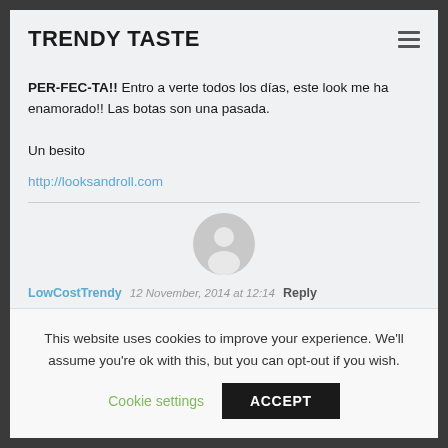TRENDY TASTE
PER-FEC-TA!! Entro a verte todos los días, este look me ha enamorado!! Las botas son una pasada.

Un besito
http://looksandroll.com
LowCostTrendy 12 November, 2014 at 12:14 Reply
This website uses cookies to improve your experience. We'll assume you're ok with this, but you can opt-out if you wish.
Cookie settings ACCEPT